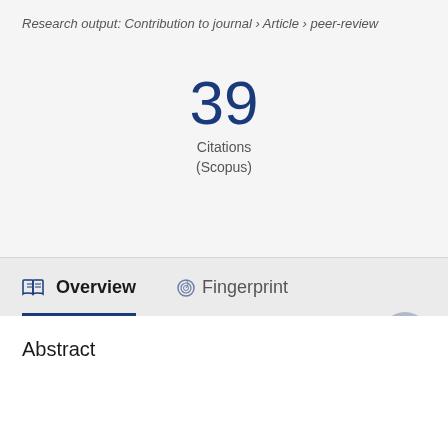Research output: Contribution to journal › Article › peer-review
39
Citations
(Scopus)
Overview
Fingerprint
Abstract